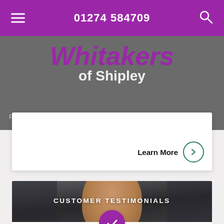01274 584709
Whitakers of Shipley
Please call 01274 584709 or message us through our contact page
Learn More
CUSTOMER TESTIMONIALS
[Figure (photo): Smiling man with beard and mustache, blurred background]
If you feel we should have done something differently